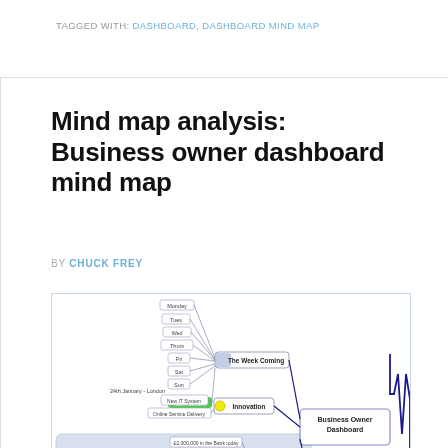TAGGED WITH: DASHBOARD, DASHBOARD MIND MAP
Mind map analysis: Business owner dashboard mind map
BY CHUCK FREY
[Figure (other): A business owner dashboard mind map showing nodes: 'Business Owner Dashboard' at center-right, connected to 'The Week Coming' (with day sub-nodes: Monday, Tues, Wed, Thurs, Fri, Sat, Sun, and '24th January - London', 'Next Review'), 'Innovation' (with sub-nodes: New IT System, Online Service Delivery), and 'Cash Flow' (with sub-nodes: £2,000,000 in the Bank today, box-1009, Liabilities: £1,000,000, Still to be paid/invoiced: £1,000,000, Client A: £500,000, Client B: £500,000, Net Revenue: £3,000,000). The diagram uses blue/navy connecting lines with a heartbeat-style line on the right side.]